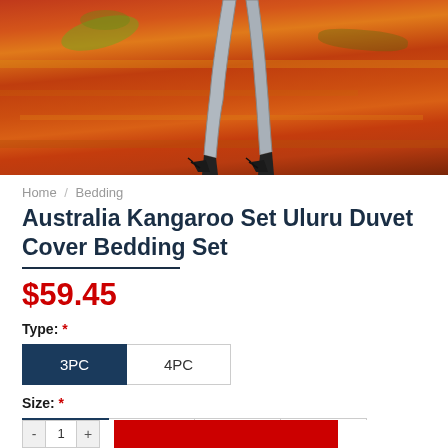[Figure (photo): Product image showing the lower body/legs of a kangaroo painted in artistic style against a red/orange Australian outback background (Uluru landscape). The image appears to be printed on a bedding/duvet cover.]
Home / Bedding
Australia Kangaroo Set Uluru Duvet Cover Bedding Set
$59.45
Type: *
3PC  4PC
Size: *
Twin  Full  Queen  King